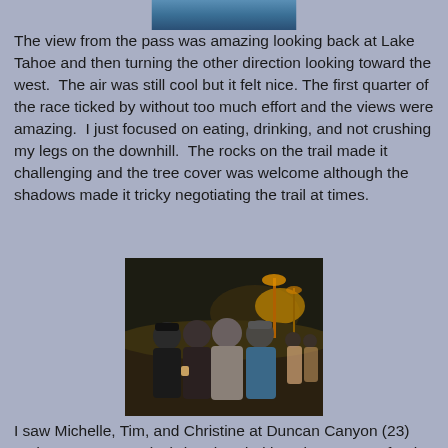[Figure (photo): Partial photo at top of page, cropped, showing outdoor scene near Lake Tahoe]
The view from the pass was amazing looking back at Lake Tahoe and then turning the other direction looking toward the west.  The air was still cool but it felt nice. The first quarter of the race ticked by without too much effort and the views were amazing.  I just focused on eating, drinking, and not crushing my legs on the downhill.  The rocks on the trail made it challenging and the tree cover was welcome although the shadows made it tricky negotiating the trail at times.
[Figure (photo): Group photo of four people (Michelle, Tim, Christine, and Dusty) at Duncan Canyon or Dusty Corners aid station at night]
I saw Michelle, Tim, and Christine at Duncan Canyon (23) and Dusty Corners (38) then headed into the canyons for the big downhill and uphill sections.  The river crossing at